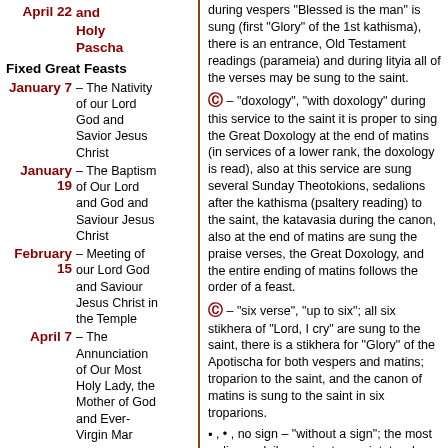April 22 and Holy Pascha
Fixed Great Feasts
January 7 – The Nativity of our Lord God and Savior Jesus Christ
January 19 – The Baptism of Our Lord and God and Saviour Jesus Christ
February 15 – Meeting of our Lord God and Saviour Jesus Christ in the Temple
April 7 – The Annunciation of Our Most Holy Lady, the Mother of God and Ever-Virgin Mar
August 19 – The Holy Transfiguration of Our Lord God and
during vespers "Blessed is the man" is sung (first "Glory" of the 1st kathisma), there is an entrance, Old Testament readings (parameia) and during lityia all of the verses may be sung to the saint.
– "doxology", "with doxology" during this service to the saint it is proper to sing the Great Doxology at the end of matins (in services of a lower rank, the doxology is read), also at this service are sung several Sunday Theotokions, sedalions after the kathisma (psaltery reading) to the saint, the katavasia during the canon, also at the end of matins are sung the praise verses, the Great Doxology, and the entire ending of matins follows the order of a feast.
– "six verse", "up to six"; all six stikhera of "Lord, I cry" are sung to the saint, there is a stikhera for "Glory" of the Apotischa for both vespers and matins; troparion to the saint, and the canon of matins is sung to the saint in six troparions.
▪ , • , no sign – "without a sign"; the most ordinary, daily service to a saint, to whom it is customary to sing only three stikhera at "Lord I cry" and the canon of matins in four troparions. There may not be a troparion to the saint.